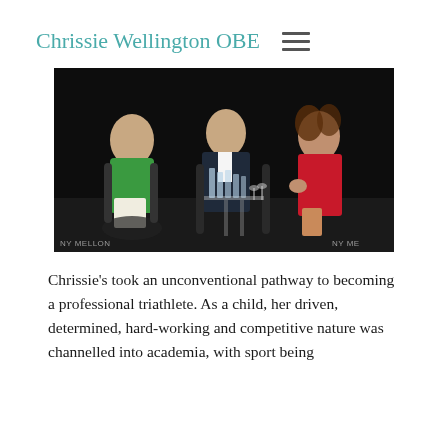Chrissie Wellington OBE
[Figure (photo): Panel discussion photo showing three people seated on stage chairs around a small glass table with water glasses. Left person wears green top and white pants, center person in dark suit, right person in red dress gesturing with hands. BNY Mellon branding visible on dark background.]
Chrissie's took an unconventional pathway to becoming a professional triathlete. As a child, her driven, determined, hard-working and competitive nature was channelled into academia, with sport being